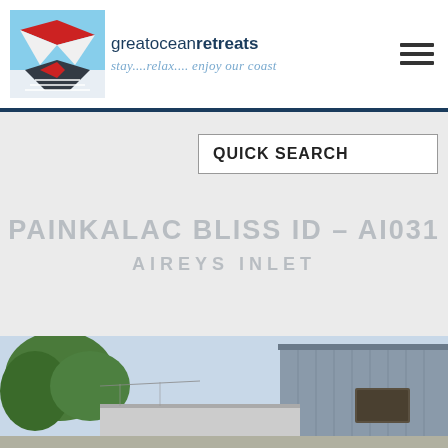greatoceanretreats stay....relax.... enjoy our coast
QUICK SEARCH
PAINKALAC BLISS ID – AI031
AIREYS INLET
[Figure (photo): Exterior photo of a modern holiday home with blue-grey cladding, a flat roof, and trees in the background under a clear sky]